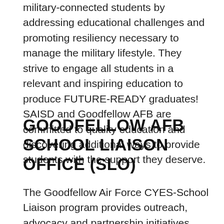military-connected students by addressing educational challenges and promoting resiliency necessary to manage the military lifestyle. They strive to engage all students in a relevant and inspiring education to produce FUTURE-READY graduates! SAISD and Goodfellow AFB are committed to quality education and discovering additional ways to provide students with the support they deserve.
GOODFELLOW AFB SCHOOL LIAISON OFFICE (SLO)
The Goodfellow Air Force CYES-School Liaison program provides outreach, advocacy and partnership initiatives that generates real-time